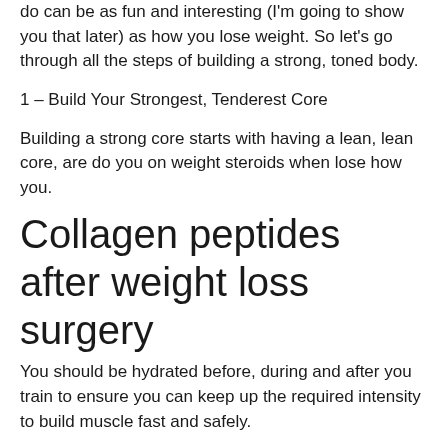do can be as fun and interesting (I'm going to show you that later) as how you lose weight. So let's go through all the steps of building a strong, toned body.
1 – Build Your Strongest, Tenderest Core
Building a strong core starts with having a lean, lean core, are do you on weight steroids when lose how you.
Collagen peptides after weight loss surgery
You should be hydrated before, during and after you train to ensure you can keep up the required intensity to build muscle fast and safely.
The best way to do this is to take an electrolyte drink with you to the gym, how do you lose weight while on prednisone. These drinks also help build your strength